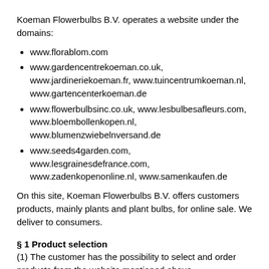Koeman Flowerbulbs B.V. operates a website under the domains:
www.florablom.com
www.gardencentrekoeman.co.uk, www.jardineriekoeman.fr, www.tuincentrumkoeman.nl, www.gartencenterkoeman.de
www.flowerbulbsinc.co.uk, www.lesbulbesafleurs.com, www.bloembollenkopen.nl, www.blumenzwiebelnversand.de
www.seeds4garden.com, www.lesgrainesdefrance.com, www.zadenkopenonline.nl, www.samenkaufen.de
On this site, Koeman Flowerbulbs B.V. offers customers products, mainly plants and plant bulbs, for online sale. We deliver to consumers.
§ 1 Product selection
(1) The customer has the possibility to select and order products from the website mentioned above.
(2) Customers can consult a separate product description on the respective website with regard to each product.